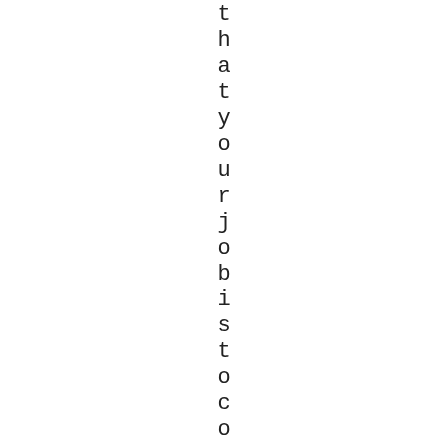that your job is to coach your c